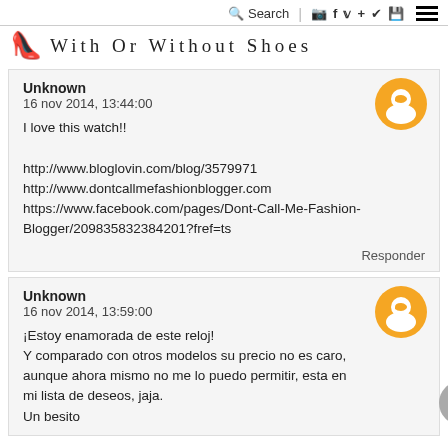Search | (instagram) (facebook) (twitter) + (pinterest) (save) ≡
With Or Without Shoes
Unknown
16 nov 2014, 13:44:00

I love this watch!!

http://www.bloglovin.com/blog/3579971
http://www.dontcallmefashionblogger.com
https://www.facebook.com/pages/Dont-Call-Me-Fashion-Blogger/209835832384201?fref=ts

Responder
Unknown
16 nov 2014, 13:59:00

¡Estoy enamorada de este reloj!
Y comparado con otros modelos su precio no es caro, aunque ahora mismo no me lo puedo permitir, esta en mi lista de deseos, jaja.
Un besito